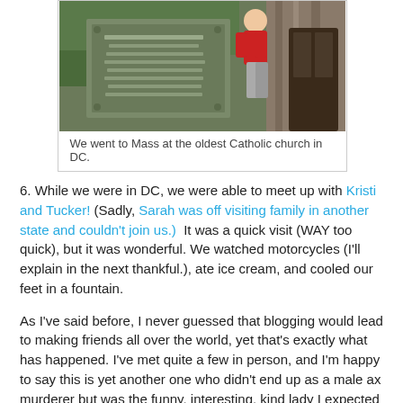[Figure (photo): Person in red shirt posing next to a large stone plaque/monument outside an old stone church building]
We went to Mass at the oldest Catholic church in DC.
6. While we were in DC, we were able to meet up with Kristi and Tucker! (Sadly, Sarah was off visiting family in another state and couldn't join us.)  It was a quick visit (WAY too quick), but it was wonderful. We watched motorcycles (I'll explain in the next thankful.), ate ice cream, and cooled our feet in a fountain.
As I've said before, I never guessed that blogging would lead to making friends all over the world, yet that's exactly what has happened. I've met quite a few in person, and I'm happy to say this is yet another one who didn't end up as a male ax murderer but was the funny, interesting, kind lady I expected her to be.